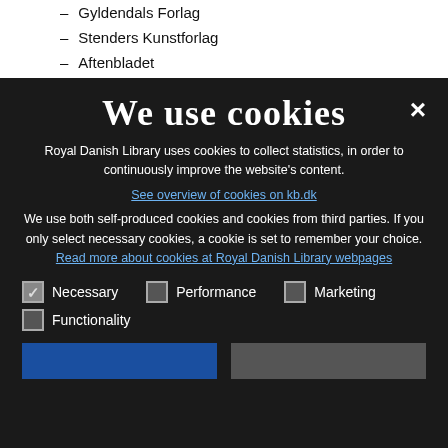– Gyldendals Forlag
– Stenders Kunstforlag
– Aftenbladet
We use cookies
Royal Danish Library uses cookies to collect statistics, in order to continuously improve the website's content.
See overview of cookies on kb.dk
We use both self-produced cookies and cookies from third parties. If you only select necessary cookies, a cookie is set to remember your choice. Read more about cookies at Royal Danish Library webpages
Necessary
Performance
Marketing
Functionality